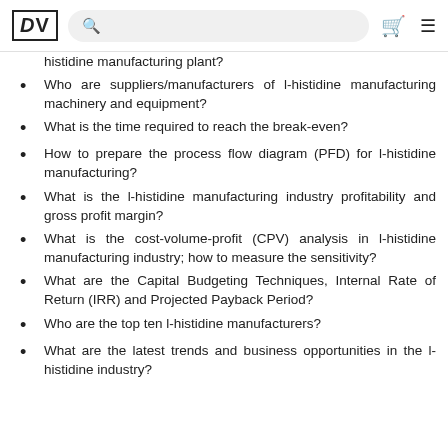DV [logo with search bar, cart icon, menu icon]
histidine manufacturing plant?
Who are suppliers/manufacturers of l-histidine manufacturing machinery and equipment?
What is the time required to reach the break-even?
How to prepare the process flow diagram (PFD) for l-histidine manufacturing?
What is the l-histidine manufacturing industry profitability and gross profit margin?
What is the cost-volume-profit (CPV) analysis in l-histidine manufacturing industry; how to measure the sensitivity?
What are the Capital Budgeting Techniques, Internal Rate of Return (IRR) and Projected Payback Period?
Who are the top ten l-histidine manufacturers?
What are the latest trends and business opportunities in the l-histidine industry?